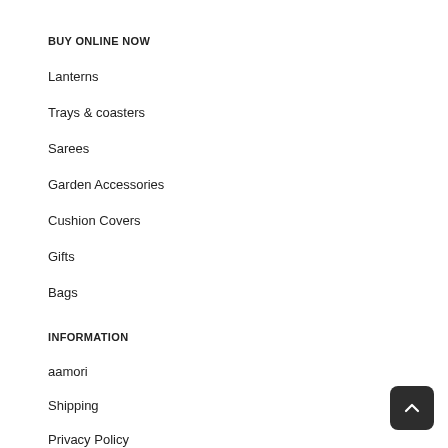BUY ONLINE NOW
Lanterns
Trays & coasters
Sarees
Garden Accessories
Cushion Covers
Gifts
Bags
INFORMATION
aamori
Shipping
Privacy Policy